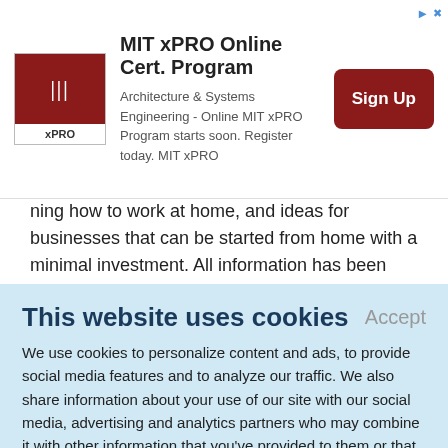[Figure (other): MIT xPRO Online Cert. Program advertisement banner with MIT xPRO logo, text about Architecture & Systems Engineering Online program, and a red Sign Up button]
ning how to work at home, and ideas for businesses that can be started from home with a minimal investment. All information has been updated, and over 150 new opportunities are included.
Field Trips: Bug Hunting, Animal Tracking, Bird-
This website uses cookies
We use cookies to personalize content and ads, to provide social media features and to analyze our traffic. We also share information about your use of our site with our social media, advertising and analytics partners who may combine it with other information that you've provided to them or that they've collected from your use of their services.
Learn More.
plants and animals wherever you are. He gives hints for